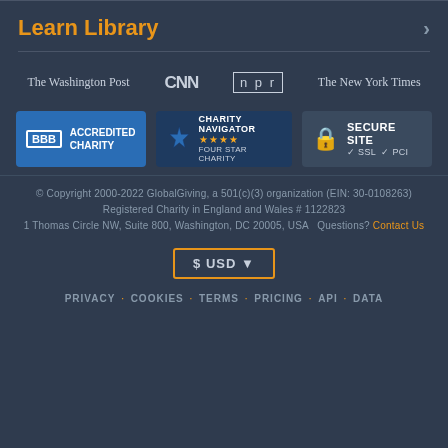Learn Library
[Figure (logo): Press logos row: The Washington Post, CNN, npr, The New York Times]
[Figure (logo): BBB Accredited Charity badge, Charity Navigator Four Star Charity badge, Secure Site SSL PCI badge]
© Copyright 2000-2022 GlobalGiving, a 501(c)(3) organization (EIN: 30-0108263)
Registered Charity in England and Wales # 1122823
1 Thomas Circle NW, Suite 800, Washington, DC 20005, USA  Questions? Contact Us
$ USD ▼
PRIVACY · COOKIES · TERMS · PRICING · API · DATA